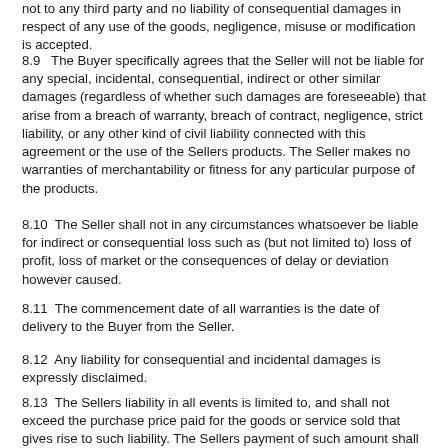not to any third party and no liability of consequential damages in respect of any use of the goods, negligence, misuse or modification is accepted.
8.9  The Buyer specifically agrees that the Seller will not be liable for any special, incidental, consequential, indirect or other similar damages (regardless of whether such damages are foreseeable) that arise from a breach of warranty, breach of contract, negligence, strict liability, or any other kind of civil liability connected with this agreement or the use of the Sellers products. The Seller makes no warranties of merchantability or fitness for any particular purpose of the products.
8.10  The Seller shall not in any circumstances whatsoever be liable for indirect or consequential loss such as (but not limited to) loss of profit, loss of market or the consequences of delay or deviation however caused.
8.11  The commencement date of all warranties is the date of delivery to the Buyer from the Seller.
8.12  Any liability for consequential and incidental damages is expressly disclaimed.
8.13  The Sellers liability in all events is limited to, and shall not exceed the purchase price paid for the goods or service sold that gives rise to such liability. The Sellers payment of such amount shall be the final and